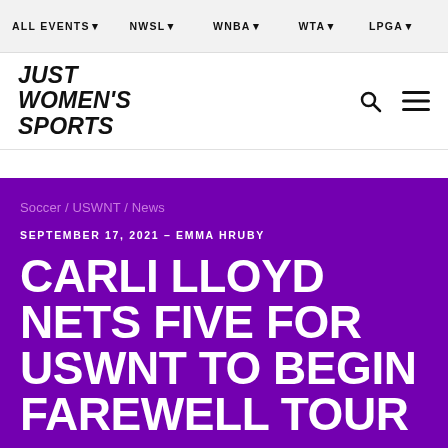ALL EVENTS  NWSL  WNBA  WTA  LPGA
JUST WOMEN'S SPORTS
Soccer / USWNT / News
SEPTEMBER 17, 2021 – EMMA HRUBY
CARLI LLOYD NETS FIVE FOR USWNT TO BEGIN FAREWELL TOUR